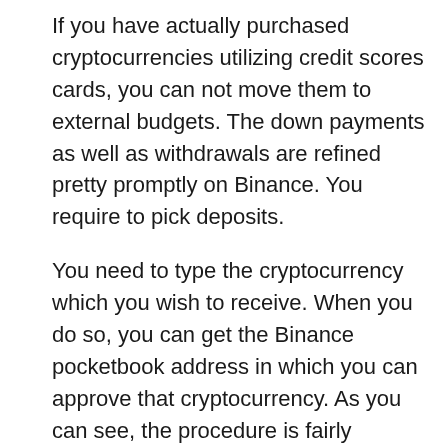If you have actually purchased cryptocurrencies utilizing credit scores cards, you can not move them to external budgets. The down payments as well as withdrawals are refined pretty promptly on Binance. You require to pick deposits.
You need to type the cryptocurrency which you wish to receive. When you do so, you can get the Binance pocketbook address in which you can approve that cryptocurrency. As you can see, the procedure is fairly simple. With these features, there is no reason you should not select the Binance cryptocurrency exchange.
The enough liquidity, a wide variety of cryptocurrencies, and also a durable system